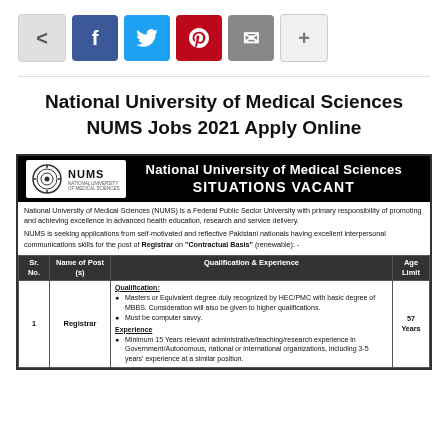[Figure (infographic): Social media share buttons: share (neutral), Facebook (blue), Twitter (light blue), Pinterest (red), Email (gray), Plus (light gray)]
National University of Medical Sciences NUMS Jobs 2021 Apply Online
[Figure (infographic): NUMS job advertisement notice showing the university logo, 'SITUATIONS VACANT' header, body text about the university, and a table listing the Registrar position with qualification and experience requirements, age limit 57 Years.]